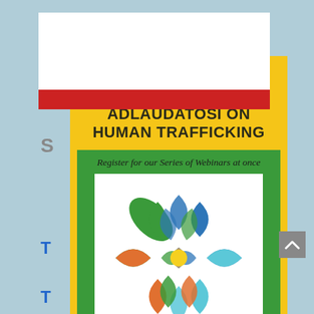[Figure (screenshot): Screenshot of a website with a popup overlay. The background shows a light blue webpage with partial content visible. A yellow popup card is overlaid with bold uppercase text and a green inner box containing a decorative logo made of colored leaf/petal shapes. A close button (X) is visible at the top-left of the popup.]
REGISTER TO OUR SERIES OF WEBINARS ADLAUDATOSI ON HUMAN TRAFFICKING
Register for our Series of Webinars at once
INTERNATIONAL WEBINARS